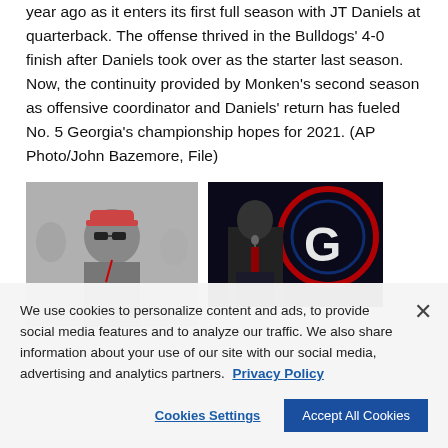year ago as it enters its first full season with JT Daniels at quarterback. The offense thrived in the Bulldogs' 4-0 finish after Daniels took over as the starter last season. Now, the continuity provided by Monken's second season as offensive coordinator and Daniels' return has fueled No. 5 Georgia's championship hopes for 2021. (AP Photo/John Bazemore, File)
[Figure (photo): A man wearing sunglasses and a cap standing on sideline, likely a football coach]
[Figure (photo): A man in a suit speaking at a podium with a large Georgia Bulldogs 'G' logo in the background]
We use cookies to personalize content and ads, to provide social media features and to analyze our traffic. We also share information about your use of our site with our social media, advertising and analytics partners. Privacy Policy
Cookies Settings | Accept All Cookies